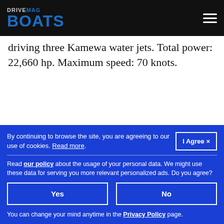DRIVEMAG BOATS
driving three Kamewa water jets. Total power: 22,660 hp. Maximum speed: 70 knots.
36m M/Y Galeocerdo - 65 knots
By continuing to browse the site, you are agreeing to our use of cookies. Read more.
I Agree ×
Read our policy about the usage of your personal data. We might use these data for serving you more relevant personalized ads. Do you agree?
Yes
No
You can change your mind anytime in the Privacy Policy page.